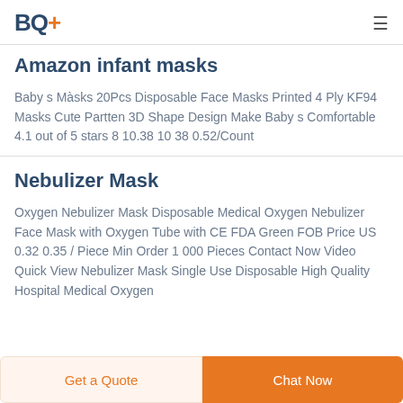BQ+
Amazon infant masks
Baby s Màsks 20Pcs Disposable Face Masks Printed 4 Ply KF94 Masks Cute Partten 3D Shape Design Make Baby s Comfortable 4.1 out of 5 stars 8 10.38 10 38 0.52/Count
Nebulizer Mask
Oxygen Nebulizer Mask Disposable Medical Oxygen Nebulizer Face Mask with Oxygen Tube with CE FDA Green FOB Price US 0.32 0.35 / Piece Min Order 1 000 Pieces Contact Now Video Quick View Nebulizer Mask Single Use Disposable High Quality Hospital Medical Oxygen